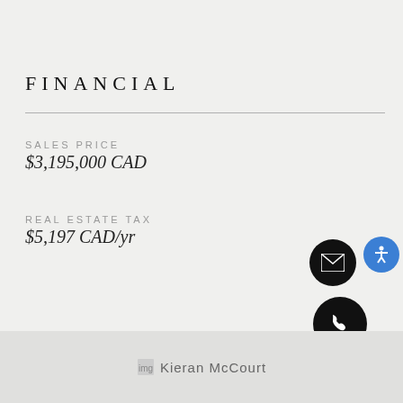2
FINANCIAL
SALES PRICE
$3,195,000 CAD
REAL ESTATE TAX
$5,197 CAD/yr
[Figure (other): Kieran McCourt agent photo placeholder]
[Figure (other): Email contact icon button (black circle with envelope)]
[Figure (other): Accessibility icon button (blue circle with person figure)]
[Figure (other): Phone contact icon button (black circle with phone handset)]